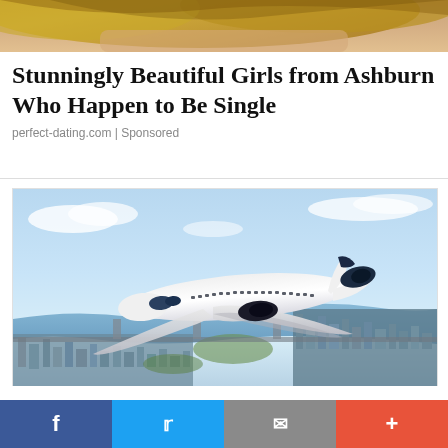[Figure (photo): Partial photo of a woman with blonde hair, cropped at top of page]
Stunningly Beautiful Girls from Ashburn Who Happen to Be Single
perfect-dating.com | Sponsored
[Figure (photo): A white private jet flying over a city with a river and urban skyline, aerial view, blue sky with clouds]
Facebook | Twitter | Email | More